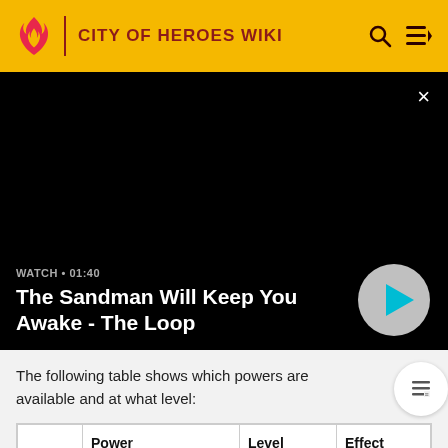CITY OF HEROES WIKI
[Figure (screenshot): Black video panel with close button (×), watch label 'WATCH • 01:40', title 'The Sandman Will Keep You Awake - The Loop', and a circular play button]
The following table shows which powers are available and at what level:
|  | Power | Level | Effect |
| --- | --- | --- | --- |
|  |  |  |  |